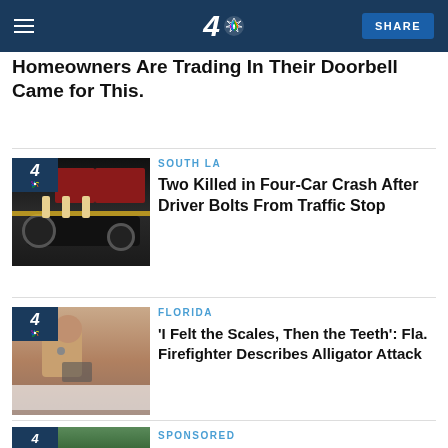NBC 4 | SHARE
Homeowners Are Trading In Their Doorbell Came for This.
[Figure (photo): Car crash scene at night with emergency responders and fire trucks. NBC 4 badge visible.]
SOUTH LA
Two Killed in Four-Car Crash After Driver Bolts From Traffic Stop
[Figure (photo): Man in hospital bed with medical sensors attached, holding a tablet. NBC 4 badge visible.]
FLORIDA
'I Felt the Scales, Then the Teeth': Fla. Firefighter Describes Alligator Attack